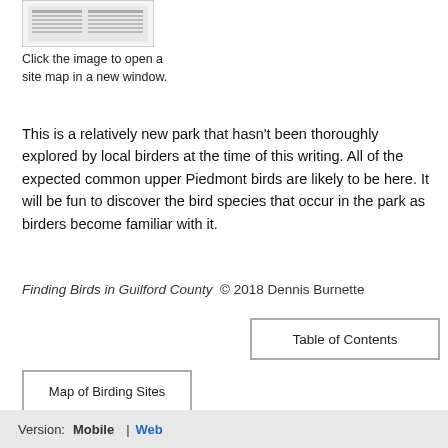[Figure (screenshot): Small thumbnail image of a site map table]
Click the image to open a site map in a new window.
This is a relatively new park that hasn't been thoroughly explored by local birders at the time of this writing. All of the expected common upper Piedmont birds are likely to be here. It will be fun to discover the bird species that occur in the park as birders become familiar with it.
Finding Birds in Guilford County © 2018 Dennis Burnette
Table of Contents
Map of Birding Sites
Version:  Mobile  |  Web